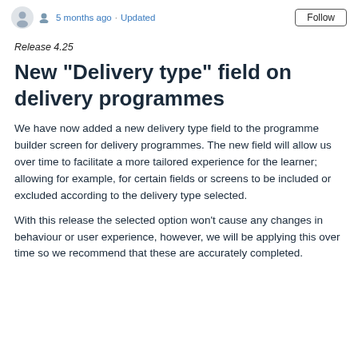5 months ago · Updated | Follow
Release 4.25
New "Delivery type" field on delivery programmes
We have now added a new delivery type field to the programme builder screen for delivery programmes. The new field will allow us over time to facilitate a more tailored experience for the learner; allowing for example, for certain fields or screens to be included or excluded according to the delivery type selected.
With this release the selected option won't cause any changes in behaviour or user experience, however, we will be applying this over time so we recommend that these are accurately completed.